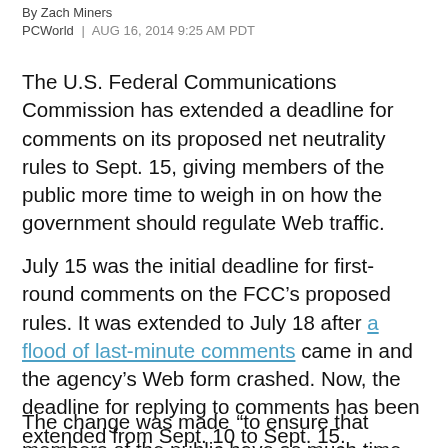By Zach Miners
PCWorld | AUG 16, 2014 9:25 AM PDT
The U.S. Federal Communications Commission has extended a deadline for comments on its proposed net neutrality rules to Sept. 15, giving members of the public more time to weigh in on how the government should regulate Web traffic.
July 15 was the initial deadline for first-round comments on the FCC’s proposed rules. It was extended to July 18 after a flood of last-minute comments came in and the agency’s Web form crashed. Now, the deadline for replying to comments has been extended from Sept. 10 to Sept. 15.
The change was made “to ensure that members of the public have as much time as was initially